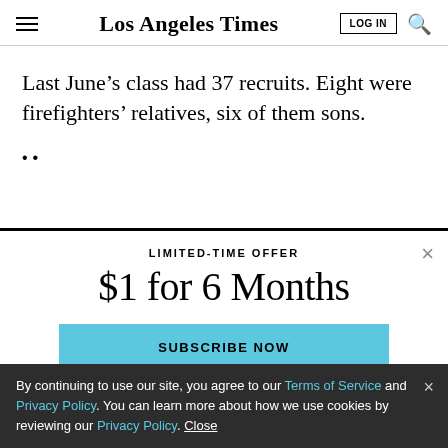Los Angeles Times
Last June’s class had 37 recruits. Eight were firefighters’ relatives, six of them sons.
::
LIMITED-TIME OFFER
$1 for 6 Months
SUBSCRIBE NOW
By continuing to use our site, you agree to our Terms of Service and Privacy Policy. You can learn more about how we use cookies by reviewing our Privacy Policy. Close